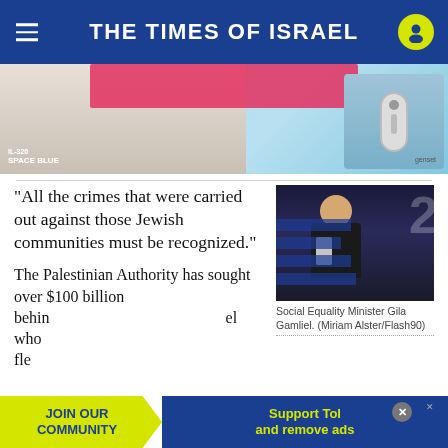THE TIMES OF ISRAEL
[Figure (photo): Advertisement banner showing a woman with a blue carpet/mat and a device labeled 'SPACE BLUE']
“All the crimes that were carried out against those Jewish communities must be recognized.”
[Figure (photo): Social Equality Minister Gila Gamliel speaking at a podium with a microphone]
Social Equality Minister Gila Gamliel. (Miriam Alster/Flash90)
The Palestinian Authority has sought over $100 billion in reparations for Jews left behind... Israel who fled...
JOIN OUR COMMUNITY
Support ToI and remove ads